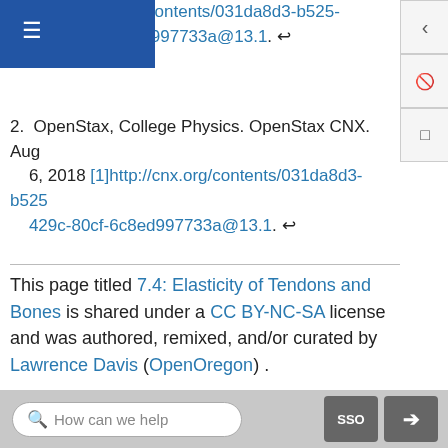018 http://cnx.org/contents/031da8d3-b525-429c-80cf-6c8ed997733a@13.1. ↵
2. OpenStax, College Physics. OpenStax CNX. Aug 6, 2018 [1]http://cnx.org/contents/031da8d3-b525-429c-80cf-6c8ed997733a@13.1. ↵
This page titled 7.4: Elasticity of Tendons and Bones is shared under a CC BY-NC-SA license and was authored, remixed, and/or curated by Lawrence Davis (OpenOregon) .
Back to top ▲
◄ 7.3: Brittle Bones  |  7.5: Measuring Weight ►